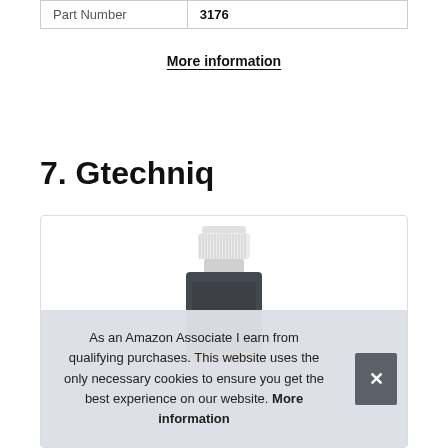| Part Number | 3176 |
More information
7. Gtechniq
[Figure (photo): A product bottle with a white ridged cap and dark body, partially visible, with a red label at the bottom edge.]
As an Amazon Associate I earn from qualifying purchases. This website uses the only necessary cookies to ensure you get the best experience on our website. More information